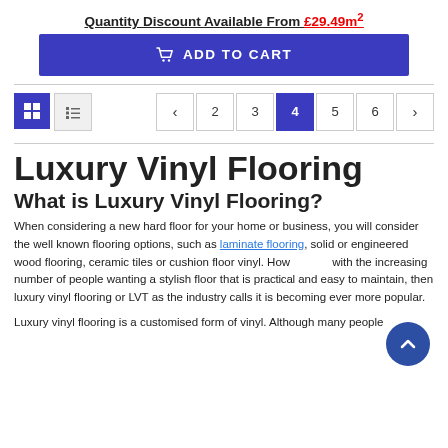Quantity Discount Available From £29.49m²
[Figure (other): Add to Cart button with shopping cart icon on a blue background]
[Figure (other): Toolbar with grid/list view toggles and pagination controls showing pages < 2 3 4(active) 5 6 >]
Luxury Vinyl Flooring
What is Luxury Vinyl Flooring?
When considering a new hard floor for your home or business, you will consider the well known flooring options, such as laminate flooring, solid or engineered wood flooring, ceramic tiles or cushion floor vinyl. However with the increasing number of people wanting a stylish floor that is practical and easy to maintain, then luxury vinyl flooring or LVT as the industry calls it is becoming ever more popular.
Luxury vinyl flooring is a customised form of vinyl. Although many people